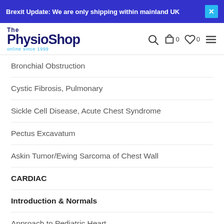Brexit Update: We are only shipping within mainland UK
[Figure (logo): The Physio Shop logo — online since 1999]
Bronchial Obstruction
Cystic Fibrosis, Pulmonary
Sickle Cell Disease, Acute Chest Syndrome
Pectus Excavatum
Askin Tumor/Ewing Sarcoma of Chest Wall
CARDIAC
Introduction & Normals
Approach to Pediatric Heart
Congenital Heart Disease